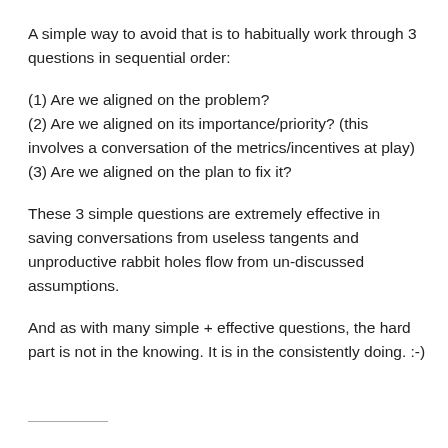A simple way to avoid that is to habitually work through 3 questions in sequential order:
(1) Are we aligned on the problem?
(2) Are we aligned on its importance/priority? (this involves a conversation of the metrics/incentives at play)
(3) Are we aligned on the plan to fix it?
These 3 simple questions are extremely effective in saving conversations from useless tangents and unproductive rabbit holes flow from un-discussed assumptions.
And as with many simple + effective questions, the hard part is not in the knowing. It is in the consistently doing. :-)